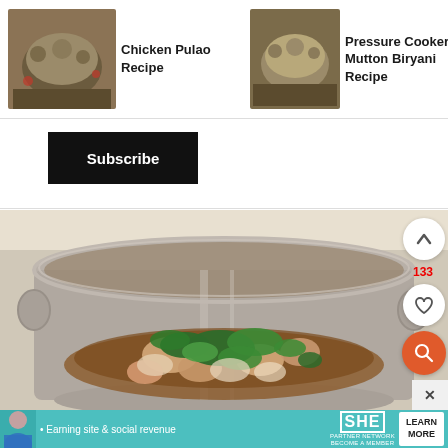[Figure (screenshot): Website screenshot showing recipe cards at top: Chicken Pulao Recipe, Pressure Cooker Mutton Biryani Recipe, Mutton Du... Biryani Re... with food thumbnails. Below is a Subscribe button, then a large photo of a cooking pot with chicken/spinach mixture being cooked, with UI overlay buttons (up arrow, heart/like with count 133, orange search icon, X close). At the bottom is a SHE Partner Network advertisement banner.]